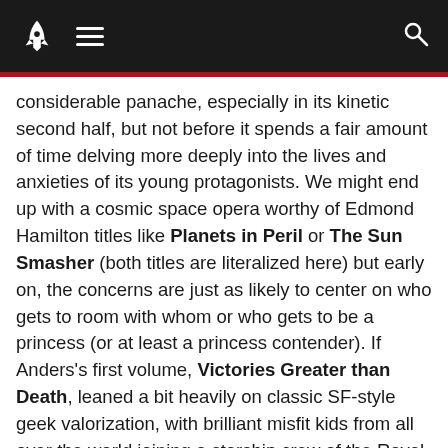Navigation bar with rocket logo, hamburger menu, and search icon
considerable panache, especially in its kinetic second half, but not before it spends a fair amount of time delving more deeply into the lives and anxieties of its young protagonists. We might end up with a cosmic space opera worthy of Edmond Hamilton titles like Planets in Peril or The Sun Smasher (both titles are literalized here) but early on, the concerns are just as likely to center on who gets to room with whom or who gets to be a princess (or at least a princess contender). If Anders’s first volume, Victories Greater than Death, leaned a bit heavily on classic SF-style geek valorization, with brilliant misfit kids from all over the world joining a starship crew of the Royal Fleet, Dreams Bigger than Heartbreak develops them into more compelling and conflicted characters who have learned to confront loss and rejection as well as to pull off hairbreadth escapes and brilliant last-minute improvisations.